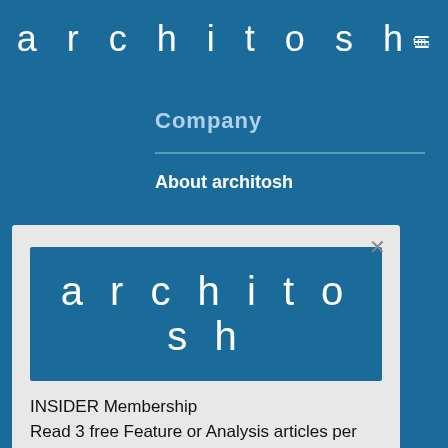architosh™ ≡
Company
About architosh
[Figure (screenshot): Modal popup overlay with architosh logo and INSIDER Membership information]
INSIDER Membership
Read 3 free Feature or Analysis articles per month.
Or, subscribe now for unlimited full access to Architosh.